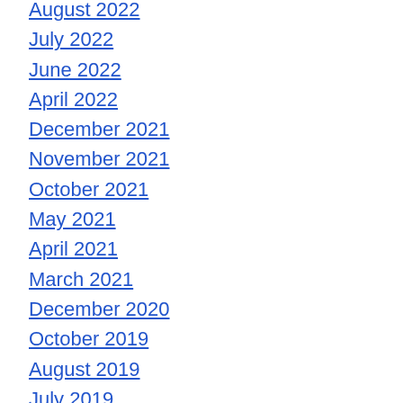August 2022
July 2022
June 2022
April 2022
December 2021
November 2021
October 2021
May 2021
April 2021
March 2021
December 2020
October 2019
August 2019
July 2019